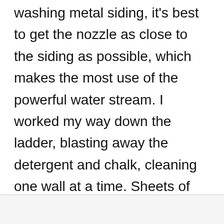washing metal siding, it's best to get the nozzle as close to the siding as possible, which makes the most use of the powerful water stream. I worked my way down the ladder, blasting away the detergent and chalk, cleaning one wall at a time. Sheets of chalky water streamed off the house like dirty milk.